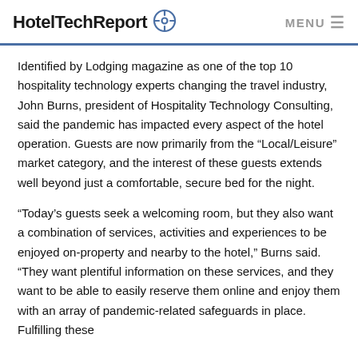HotelTechReport MENU
Identified by Lodging magazine as one of the top 10 hospitality technology experts changing the travel industry, John Burns, president of Hospitality Technology Consulting, said the pandemic has impacted every aspect of the hotel operation. Guests are now primarily from the “Local/Leisure” market category, and the interest of these guests extends well beyond just a comfortable, secure bed for the night.
“Today’s guests seek a welcoming room, but they also want a combination of services, activities and experiences to be enjoyed on-property and nearby to the hotel,” Burns said. “They want plentiful information on these services, and they want to be able to easily reserve them online and enjoy them with an array of pandemic-related safeguards in place. Fulfilling these